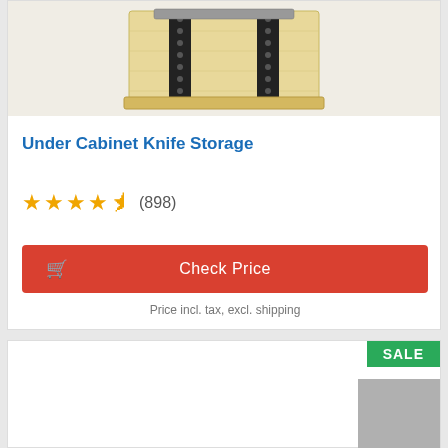[Figure (photo): Under cabinet knife storage product photo showing a wooden board with black metal rails and slots for knives]
Under Cabinet Knife Storage
★★★★☆ (898)
Check Price
Price incl. tax, excl. shipping
SALE